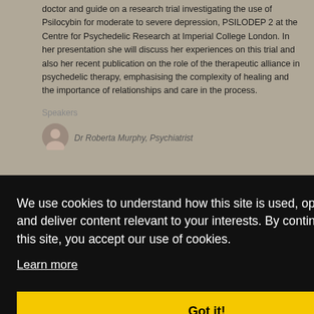doctor and guide on a research trial investigating the use of Psilocybin for moderate to severe depression, PSILODEP 2 at the Centre for Psychedelic Research at Imperial College London. In her presentation she will discuss her experiences on this trial and also her recent publication on the role of the therapeutic alliance in psychedelic therapy, emphasising the complexity of healing and the importance of relationships and care in the process.
Speakers
[Figure (photo): Small circular avatar photo of Dr Roberta Murphy, Psychiatrist]
Dr Roberta Murphy, Psychiatrist
We use cookies to understand how this site is used, optimise this site and deliver content relevant to your interests. By continuing to use this site, you accept our use of cookies.
Learn more
Got it!
stress, and sleep.' Dr Dani Gordon is a